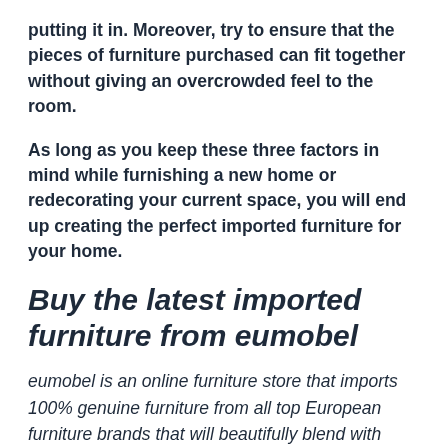putting it in. Moreover, try to ensure that the pieces of furniture purchased can fit together without giving an overcrowded feel to the room.
As long as you keep these three factors in mind while furnishing a new home or redecorating your current space, you will end up creating the perfect imported furniture for your home.
Buy the latest imported furniture from eumobel
eumobel is an online furniture store that imports 100% genuine furniture from all top European furniture brands that will beautifully blend with every home décor and interior. Imported furniture